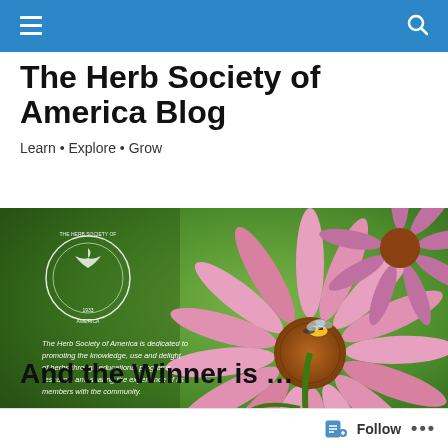The Herb Society of America Blog
Learn • Explore • Grow
[Figure (photo): Hero banner image of a pink echinacea flower with a bumblebee, overlaid with the Herb Society of America seal and italic text: 'The Herb Society of America is dedicated to promoting the knowledge, use and delight of herbs through educational programs, research, and sharing the experience of its members with the community.']
And the Winner is …
Follow  •••